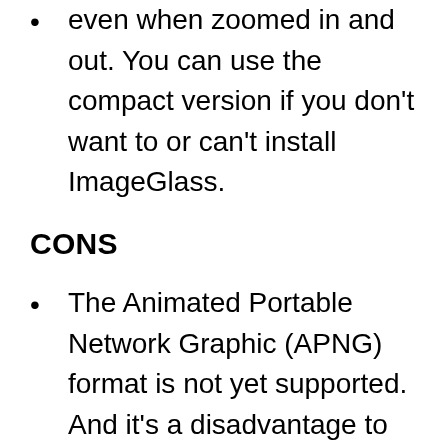You can use the compact version if you don't want to or can't install ImageGlass.
CONS
The Animated Portable Network Graphic (APNG) format is not yet supported. And it's a disadvantage to think about.
Irfanview and XnView have image manipulation and batch processing capabilities, but this